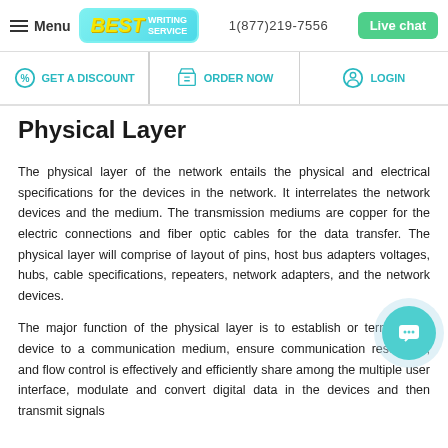Menu | BEST WRITING SERVICE | 1(877)219-7556 | Live chat
GET A DISCOUNT | ORDER NOW | LOGIN
Physical Layer
The physical layer of the network entails the physical and electrical specifications for the devices in the network. It interrelates the network devices and the medium. The transmission mediums are copper for the electric connections and fiber optic cables for the data transfer. The physical layer will comprise of layout of pins, host bus adapters voltages, hubs, cable specifications, repeaters, network adapters, and the network devices.
The major function of the physical layer is to establish or terminate a device to a communication medium, ensure communication resources, and flow control is effectively and efficiently share among the multiple user interface, modulate and convert digital data in the devices and then transmit signals